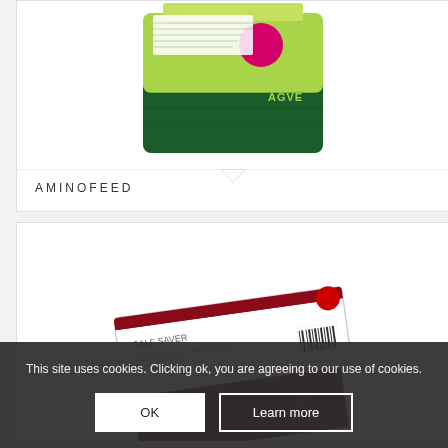[Figure (photo): Green and yellow fertilizer/feed bag with pink circle and AGVE branding, partially visible at top]
AMINOFEED
[Figure (photo): Calf Saver product box/packaging, white and dark red, partially visible]
This site uses cookies. Clicking ok, you are agreeing to our use of cookies.
OK
Learn more